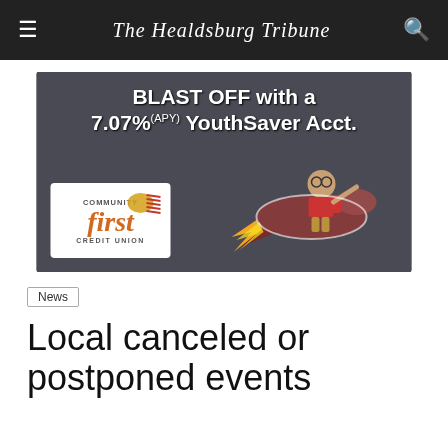The Healdsburg Tribune
[Figure (photo): Advertisement for Community First Credit Union featuring a child riding a chalk-drawn rocket on a chalkboard background. Text reads: BLAST OFF with a 7.07%(APY) YouthSaver Acct.]
News
Local canceled or postponed events